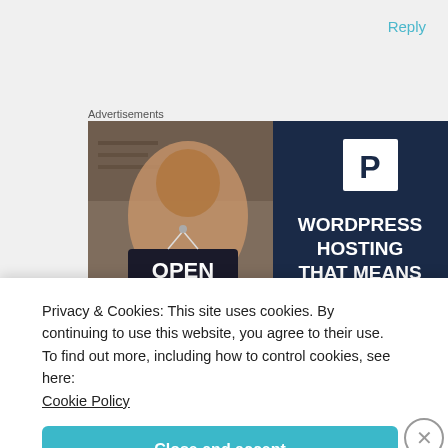Reply
Advertisements
[Figure (photo): WordPress hosting advertisement banner split into two halves: left side shows a smiling woman holding an OPEN sign in a shop window; right side is dark navy blue with a white P logo and white bold text reading 'WORDPRESS HOSTING THAT MEANS']
Privacy & Cookies: This site uses cookies. By continuing to use this website, you agree to their use.
To find out more, including how to control cookies, see here:
Cookie Policy
Close and accept